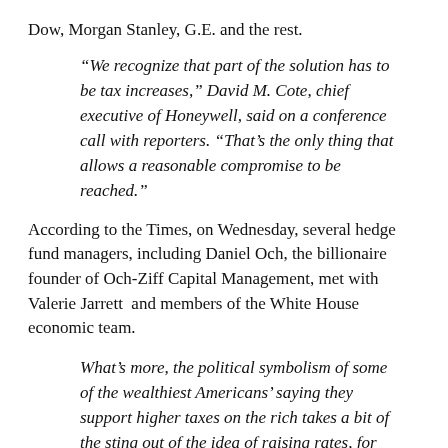Dow, Morgan Stanley, G.E. and the rest.
“We recognize that part of the solution has to be tax increases,” David M. Cote, chief executive of Honeywell, said on a conference call with reporters. “That’s the only thing that allows a reasonable compromise to be reached.”
According to the Times, on Wednesday, several hedge fund managers, including Daniel Och, the billionaire founder of Och-Ziff Capital Management, met with Valerie Jarrett and members of the White House economic team.
What’s more, the political symbolism of some of the wealthiest Americans’ saying they support higher taxes on the rich takes a bit of the sting out of the idea of raising rates, for both Democrats and Republicans.
The fact that the the majority of voters overwhelmingly voted against austerity measures and cuts in supports for the neediest among us, means little to the leaders of both parties when compared with the voices of these corporate